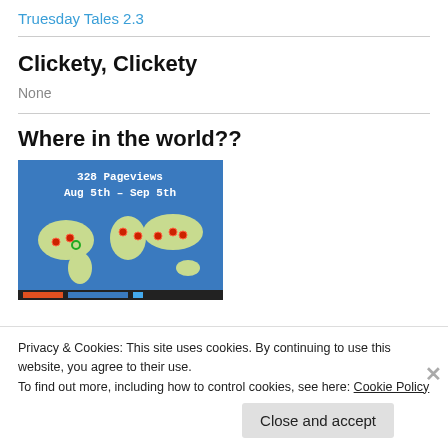Truesday Tales 2.3
Clickety, Clickety
None
Where in the world??
[Figure (map): World map showing 328 Pageviews from Aug 5th - Sep 5th with red dot markers indicating visitor locations across various continents on a blue background]
Privacy & Cookies: This site uses cookies. By continuing to use this website, you agree to their use.
To find out more, including how to control cookies, see here: Cookie Policy
Close and accept